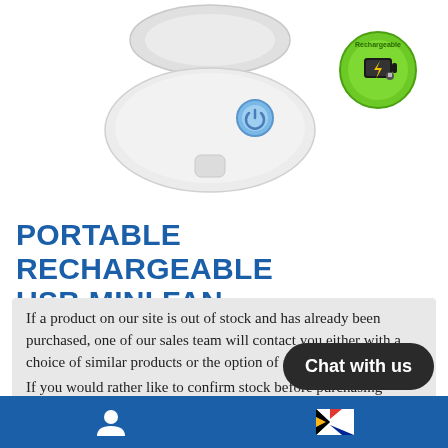[Figure (photo): White portable USB mini fan with blue power button, shown from above. A green rechargeable battery badge/icon is shown to the upper right.]
PORTABLE RECHARGEABLE USB MINI FAN
If a product on our site is out of stock and has already been purchased, one of our sales team will contact you either with a choice of similar products or the option of a full refund.
If you would rather like to confirm stock before purchasing please contact one of our sales team on 011 887 2429 or email jax@wynberglights...
Chat with us